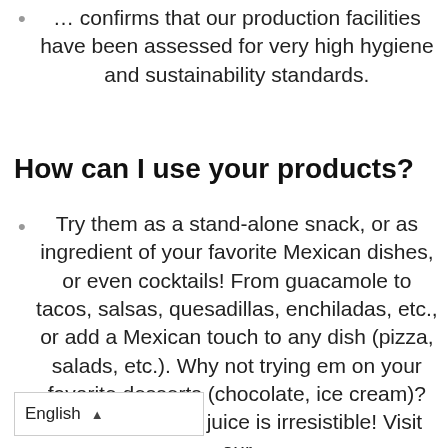… confirms that our production facilities have been assessed for very high hygiene and sustainability standards.
How can I use your products?
Try them as a stand-alone snack, or as ingredient of your favorite Mexican dishes, or even cocktails! From guacamole to tacos, salsas, quesadillas, enchiladas, etc., or add a Mexican touch to any dish (pizza, salads, etc.). Why not trying them on your favorite desserts (chocolate, ice cream)? That hint of lime juice is irresistible! Visit our